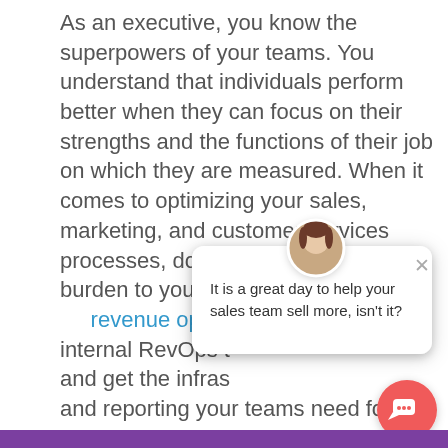As an executive, you know the superpowers of your teams. You understand that individuals perform better when they can focus on their strengths and the functions of their job on which they are measured. When it comes to optimizing your sales, marketing, and customer services processes, don't add unnecessary burden to your teams' pla[tform with a] revenue operatio[ns] internal RevOps t[eam to design] and get the infras[tructure, automation,] and reporting your teams need for maximum revenue growth.
[Figure (screenshot): Chat widget overlay: avatar of a woman, speech bubble saying 'It is a great day to help your sales team sell more, isn't it?', close button (×), and a round coral/red chat button icon at bottom right.]